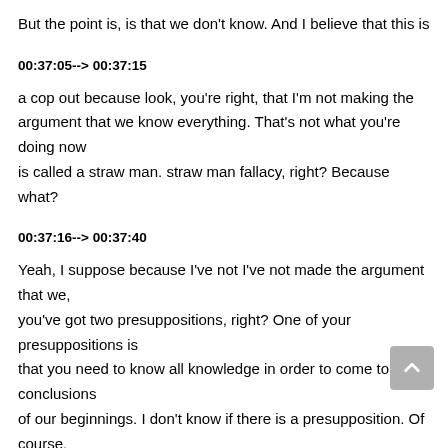But the point is, is that we don't know. And I believe that this is
00:37:05--> 00:37:15
a cop out because look, you're right, that I'm not making the argument that we know everything. That's not what you're doing now is called a straw man. straw man fallacy, right? Because what?
00:37:16--> 00:37:40
Yeah, I suppose because I've not I've not made the argument that we, you've got two presuppositions, right? One of your presuppositions is that you need to know all knowledge in order to come to conclusions of our beginnings. I don't know if there is a presupposition. Of course, it's no, no, because you might have misunderstood me. I'm not saying we will know, once we know everything. Okay. So things we don't, we won't know. Okay, so agrees What's that got to do with anything?